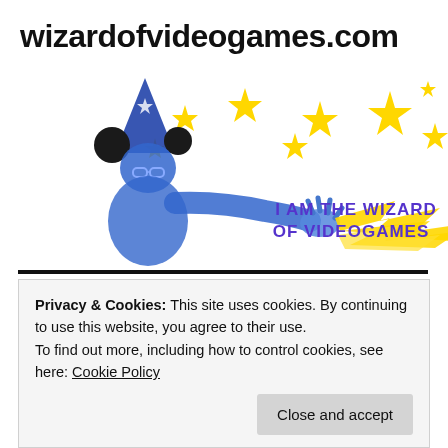wizardofvideogames.com
[Figure (illustration): Blue-tinted wizard character wearing a blue pointed hat with stars and Mickey Mouse ears, casting a spell with yellow lightning bolt streaks. Yellow stars scattered in the background. Text reads 'I AM THE WIZARD OF VIDEOGAMES' in bold blue/purple letters.]
Privacy & Cookies: This site uses cookies. By continuing to use this website, you agree to their use.
To find out more, including how to control cookies, see here: Cookie Policy
Close and accept